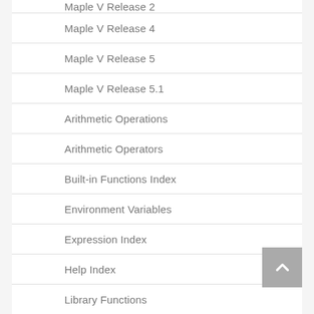Maple V Release 2
Maple V Release 4
Maple V Release 5
Maple V Release 5.1
Arithmetic Operations
Arithmetic Operators
Built-in Functions Index
Environment Variables
Expression Index
Help Index
Library Functions
Miscellaneous Index